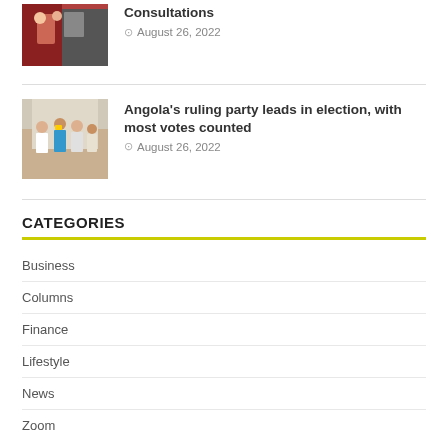[Figure (photo): Thumbnail photo at top of page, partially visible, people in red/dark setting]
Consultations
August 26, 2022
[Figure (photo): Thumbnail photo of people standing, one person in blue giving thumbs up, event/conference setting]
Angola's ruling party leads in election, with most votes counted
August 26, 2022
CATEGORIES
Business
Columns
Finance
Lifestyle
News
Zoom